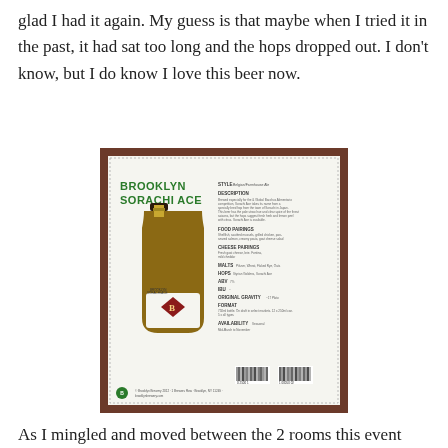glad I had it again. My guess is that maybe when I tried it in the past, it had sat too long and the hops dropped out. I don't know, but I do know I love this beer now.
[Figure (photo): Photo of the back of a Brooklyn Sorachi Ace beer bottle info sheet/card showing the bottle image on the left and beer details (style, description, food pairings, cheese pairings, malts, hops, ABV, IBU, original gravity, format, availability) on the right, with barcodes at the bottom.]
As I mingled and moved between the 2 rooms this event